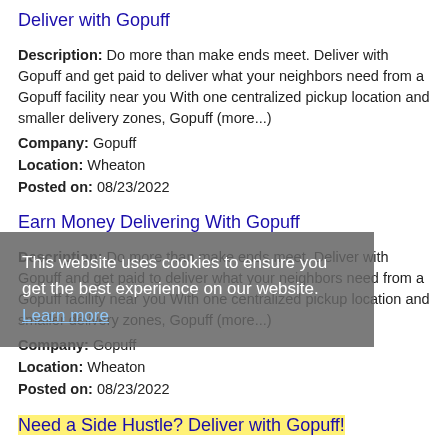Deliver with Gopuff
Description: Do more than make ends meet. Deliver with Gopuff and get paid to deliver what your neighbors need from a Gopuff facility near you With one centralized pickup location and smaller delivery zones, Gopuff (more...)
Company: Gopuff
Location: Wheaton
Posted on: 08/23/2022
Earn Money Delivering With Gopuff
Description: Do more than make ends meet. Deliver with Gopuff and get paid to deliver what your neighbors need from a Gopuff facility near you With one centralized pickup location and smaller delivery zones, Gopuff (more...)
Company: Gopuff
Location: Wheaton
Posted on: 08/23/2022
Need a Side Hustle? Deliver with Gopuff!
Description: Do more than make ends meet. Deliver with Gopuff and get paid to deliver what your neighbors need from a Gopuff facility near you With one centralized pickup location and smaller delivery zones, Gopuff (more...)
This website uses cookies to ensure you get the best experience on our website. Learn more